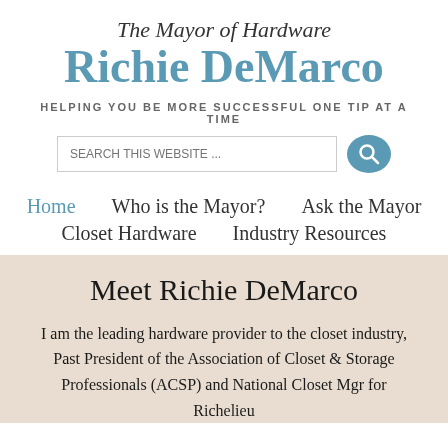The Mayor of Hardware
Richie DeMarco
HELPING YOU BE MORE SUCCESSFUL ONE TIP AT A TIME
[Figure (screenshot): Search bar with placeholder text 'SEARCH THIS WEBSITE...' and a blue circular search button with magnifying glass icon]
Home
Who is the Mayor?
Ask the Mayor
Closet Hardware
Industry Resources
Meet Richie DeMarco
I am the leading hardware provider to the closet industry, Past President of the Association of Closet & Storage Professionals (ACSP) and National Closet Mgr for Richelieu